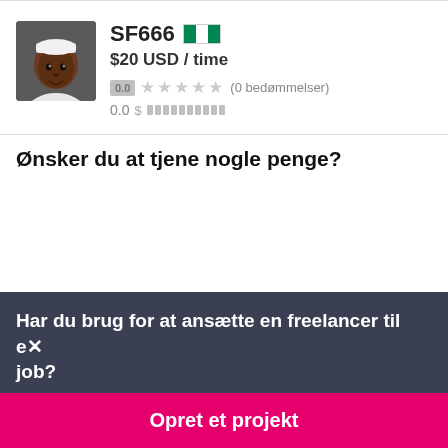[Figure (photo): Profile photo of a person wearing a white cap, dark skin, Freelancer.com profile page screenshot]
SF666 🇳🇬
$20 USD / time
0.0 ★★★★★ (0 bedømmelser)
0.0 $ ██████████
Ønsker du at tjene nogle penge?
Har du brug for at ansætte en freelancer til et job?
Opret et projekt